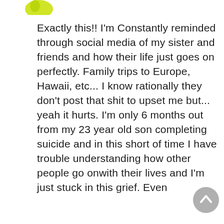[Figure (logo): Partial yellow/green avatar icon at top left]
Exactly this!! I'm Constantly reminded through social media of my sister and friends and how their life just goes on perfectly. Family trips to Europe, Hawaii, etc... I know rationally they don't post that shit to upset me but... yeah it hurts. I'm only 6 months out from my 23 year old son completing suicide and in this short of time I have trouble understanding how other people go onwith their lives and I'm just stuck in this grief. Even
[Figure (other): Grey circular scroll-to-top button at bottom right]